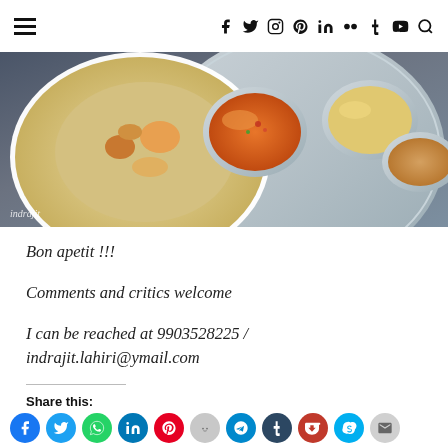≡ f t ⊙ ⊕ in ✿ t ▶ 🔍
[Figure (photo): Overhead view of Indian food dishes including biryani on a white plate and several curry dishes in metal bowls on a thali tray, on a dark blue surface. Watermark reads 'indrajit' in bottom left.]
Bon apetit !!!

Comments and critics welcome

I can be reached at 9903528225 /
indrajit.lahiri@ymail.com
Share this: